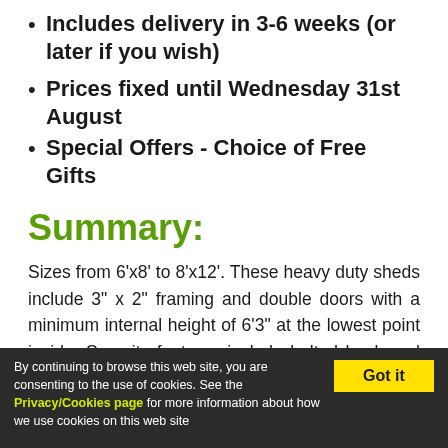Includes delivery in 3-6 weeks (or later if you wish)
Prices fixed until Wednesday 31st August
Special Offers - Choice of Free Gifts
Summary:
Sizes from 6'x8' to 8'x12'. These heavy duty sheds include 3" x 2" framing and double doors with a minimum internal height of 6'3" at the lowest point inside. Security features include bolted hook and band hinges and a heavy duty door bolt. Options
By continuing to browse this web site, you are consenting to the use of cookies. See the Privacy/Cookies page for more information about how we use cookies on this web site